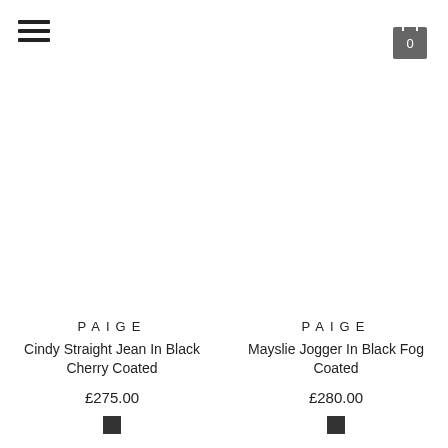Navigation menu and cart icon (0 items)
PAIGE
Cindy Straight Jean In Black Cherry Coated
£275.00
PAIGE
Mayslie Jogger In Black Fog Coated
£280.00